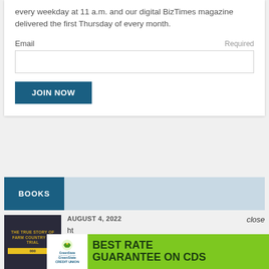every weekday at 11 a.m. and our digital BizTimes magazine delivered the first Thursday of every month.
Email  Required
JOIN NOW
BOOKS
AUGUST 4, 2022
close
[Figure (screenshot): Book cover: The True Story of Farm Country on Trial]
[Figure (other): GreenState Credit Union advertisement: Best Rate Guarantee on CDs]